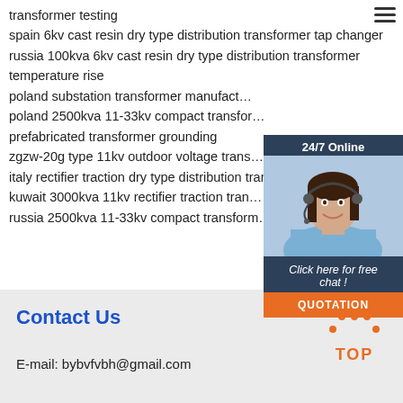transformer testing
spain 6kv cast resin dry type distribution transformer tap changer
russia 100kva 6kv cast resin dry type distribution transformer temperature rise
poland substation transformer manufacturer
poland 2500kva 11-33kv compact transformer
prefabricated transformer grounding
zgzw-20g type 11kv outdoor voltage transformer
italy rectifier traction dry type distribution transformer protection
kuwait 3000kva 11kv rectifier traction transformer tamp
russia 2500kva 11-33kv compact transformer protection
[Figure (photo): Customer service chat widget with a smiling woman wearing a headset, dark blue background, '24/7 Online' header, 'Click here for free chat!' text, and an orange QUOTATION button]
Contact Us
E-mail:  bybvfvbh@gmail.com